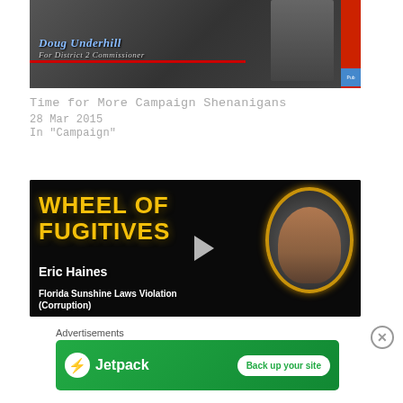[Figure (screenshot): Video thumbnail showing a man in a suit with text 'Doug Underhill For District 2 Commissioner' overlaid on a red banner, with an officer in uniform visible to the right.]
Time for More Campaign Shenanigans
28 Mar 2015
In "Campaign"
[Figure (screenshot): Video thumbnail for 'Wheel of Fugitives' featuring Eric Haines, charged with Florida Sunshine Laws Violation (Corruption). Black background with gold text and a circular badge photo of a man in uniform.]
Advertisements
[Figure (screenshot): Jetpack advertisement banner with green background showing Jetpack logo and 'Back up your site' button.]